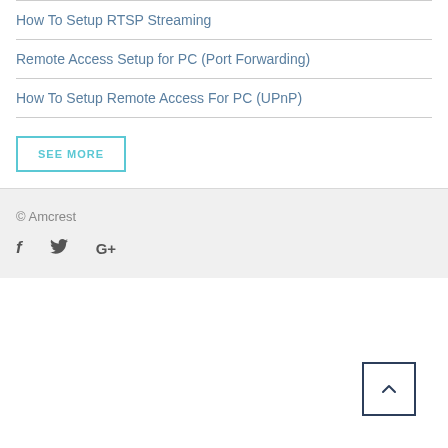How To Setup RTSP Streaming
Remote Access Setup for PC (Port Forwarding)
How To Setup Remote Access For PC (UPnP)
SEE MORE
© Amcrest
[Figure (other): Social media icons: Facebook, Twitter, Google+]
[Figure (other): Back to top button with up chevron arrow]